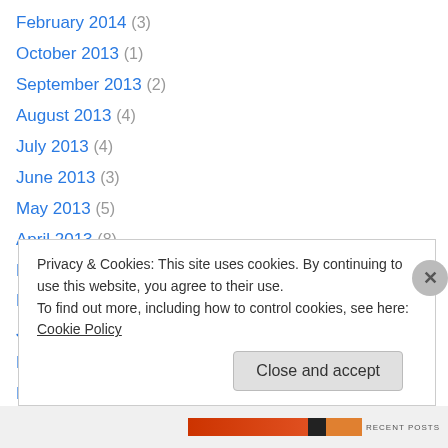February 2014 (3)
October 2013 (1)
September 2013 (2)
August 2013 (4)
July 2013 (4)
June 2013 (3)
May 2013 (5)
April 2013 (8)
March 2013 (3)
February 2013 (3)
January 2013 (3)
December 2012 (5)
November 2012 (3)
Privacy & Cookies: This site uses cookies. By continuing to use this website, you agree to their use. To find out more, including how to control cookies, see here: Cookie Policy
Close and accept